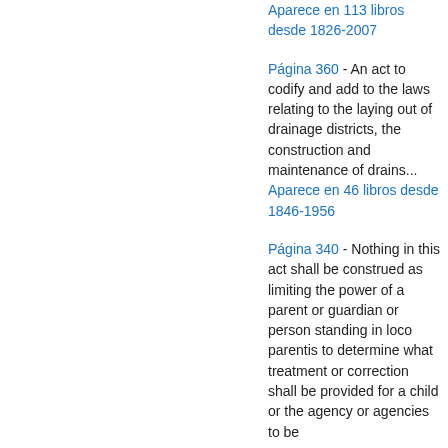Aparece en 113 libros desde 1826-2007
Página 360 - An act to codify and add to the laws relating to the laying out of drainage districts, the construction and maintenance of drains...
Aparece en 46 libros desde 1846-1956
Página 340 - Nothing in this act shall be construed as limiting the power of a parent or guardian or person standing in loco parentis to determine what treatment or correction shall be provided for a child or the agency or agencies to be